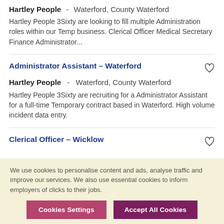Hartley People - Waterford, County Waterford
Hartley People 3Sixty are looking to fill multiple Administration roles within our Temp business. Clerical Officer Medical Secretary Finance Administrator...
Administrator Assistant – Waterford
Hartley People - Waterford, County Waterford
Hartley People 3Sixty are recruiting for a Administrator Assistant for a full-time Temporary contract based in Waterford. High volume incident data entry.
Clerical Officer – Wicklow
We use cookies to personalise content and ads, analyse traffic and improve our services. We also use essential cookies to inform employers of clicks to their jobs.